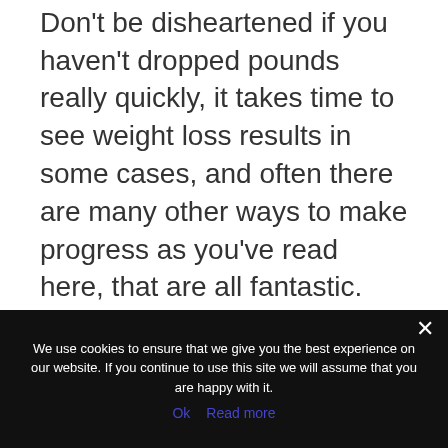Don't be disheartened if you haven't dropped pounds really quickly, it takes time to see weight loss results in some cases, and often there are many other ways to make progress as you've read here, that are all fantastic.
We use cookies to ensure that we give you the best experience on our website. If you continue to use this site we will assume that you are happy with it.
Ok  Read more